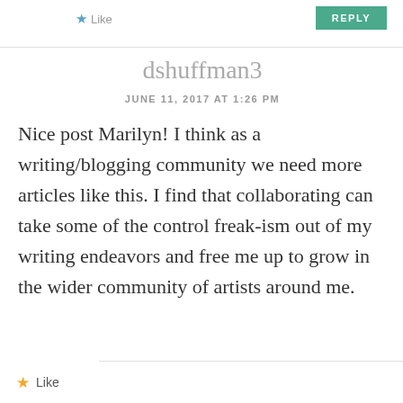REPLY
dshuffman3
JUNE 11, 2017 AT 1:26 PM
Nice post Marilyn! I think as a writing/blogging community we need more articles like this. I find that collaborating can take some of the control freak-ism out of my writing endeavors and free me up to grow in the wider community of artists around me.
Like